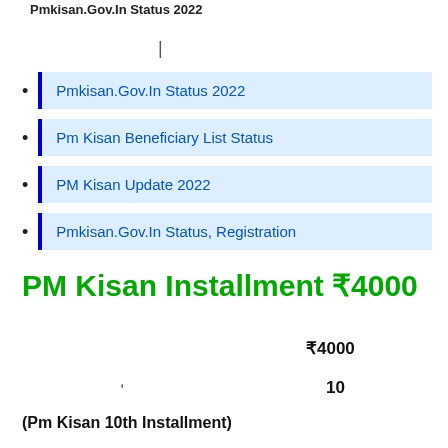Pmkisan.Gov.In Status 2022
|
Pmkisan.Gov.In Status 2022
Pm Kisan Beneficiary List Status
PM Kisan Update 2022
Pmkisan.Gov.In Status, Registration
PM Kisan Installment ₹4000
₹4000
,
10
(Pm Kisan 10th Installment)